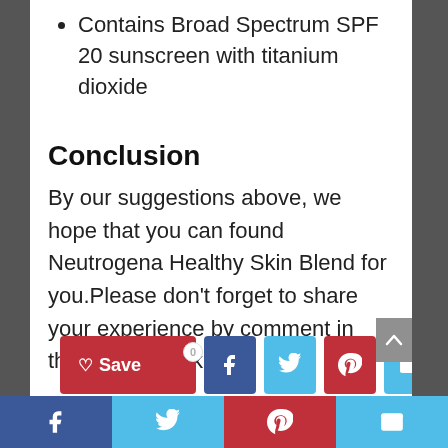Contains Broad Spectrum SPF 20 sunscreen with titanium dioxide
Conclusion
By our suggestions above, we hope that you can found Neutrogena Healthy Skin Blend for you.Please don’t forget to share your experience by comment in this post. Thank you!
[Figure (infographic): Social sharing buttons: Save (red with heart icon and badge 0), Facebook (dark blue), Twitter (light blue), Pinterest (red), Email (light blue). Below: full-width bottom bar with Facebook, Twitter, Pinterest, Email icons.]